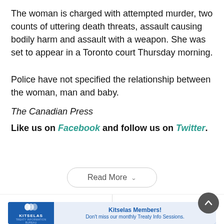The woman is charged with attempted murder, two counts of uttering death threats, assault causing bodily harm and assault with a weapon. She was set to appear in a Toronto court Thursday morning.
Police have not specified the relationship between the woman, man and baby.
The Canadian Press
Like us on Facebook and follow us on Twitter.
Read More
Previous story / Next story
[Figure (other): Kitselas Members! Don't miss our monthly Treaty Info Sessions. Advertisement banner with Kitselas logo.]